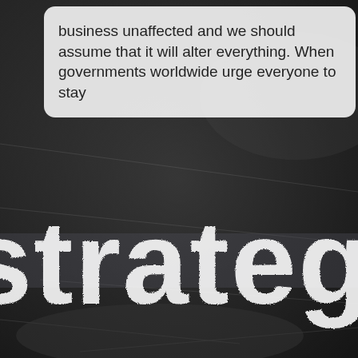business unaffected and we should assume that it will alter everything. When governments worldwide urge everyone to stay
[Figure (photo): Chalkboard background with the word 'strateg' (partial, cropped) written in chalk-style white lettering on a dark blackboard surface. A semi-transparent diagonal band overlays part of the image.]